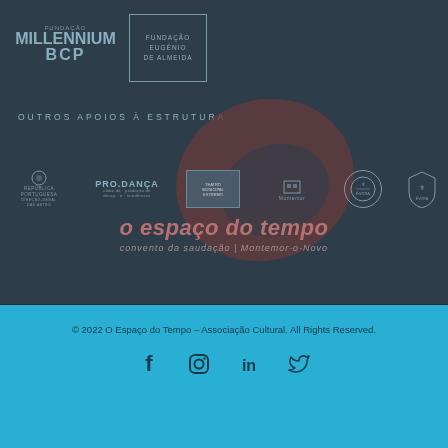[Figure (logo): Fundação Millennium BCP logo in grey tones on dark blue-grey background]
[Figure (logo): Fundação Eugénio de Almeida logo in a grey outlined box]
OUTROS APOIOS À ESTRUTURA
[Figure (illustration): Large brown bean/coffee bean decorative shape overlapping the logos and text]
[Figure (logo): Row of small sponsor logos: República Portuguesa, Pro.Dança, Teatro, Montemor, circular emblem, coat of arms]
[Figure (logo): O espaço do tempo - convento da saudação | Montemor-o-Novo logo text]
© 2022 O Espaço do Tempo – Associação Cultural. All Rights Reserved.
[Figure (infographic): Social media icons: Facebook, Instagram, LinkedIn, Twitter]